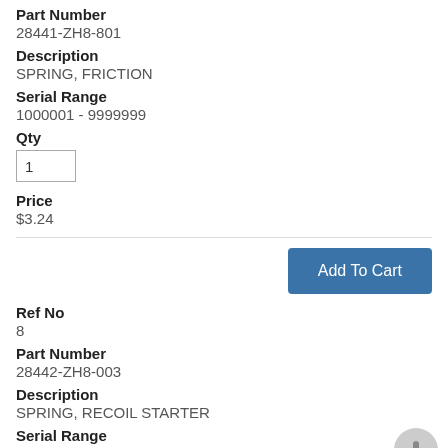Part Number
28441-ZH8-801
Description
SPRING, FRICTION
Serial Range
1000001 - 9999999
Qty
1
Price
$3.24
Ref No
8
Part Number
28442-ZH8-003
Description
SPRING, RECOIL STARTER
Serial Range
1000001 - 9999999